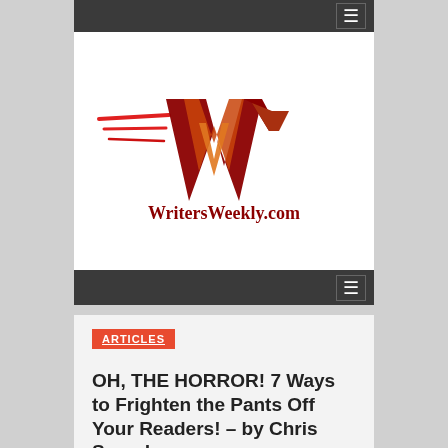≡ (navigation menu)
[Figure (logo): WritersWeekly.com logo — stylized W with red and orange streaks, bold dark red text 'WritersWeekly.com' below]
≡ (navigation menu)
ARTICLES
OH, THE HORROR! 7 Ways to Frighten the Pants Off Your Readers! – by Chris Saunders